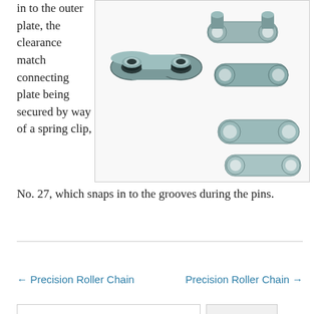in to the outer plate, the clearance match connecting plate being secured by way of a spring clip,
[Figure (photo): Photo of roller chain components including inner link plates with rollers and outer connecting link plates with pins, shown disassembled on a white background.]
No. 27, which snaps in to the grooves during the pins.
← Precision Roller Chain
Precision Roller Chain →